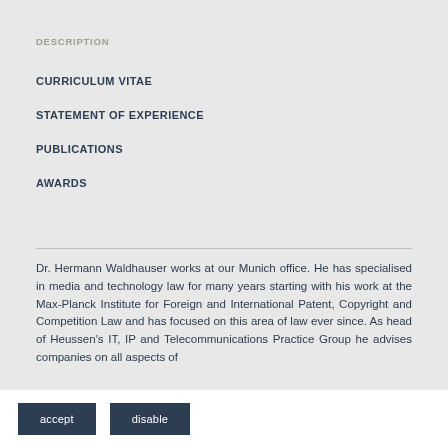DESCRIPTION
CURRICULUM VITAE
STATEMENT OF EXPERIENCE
PUBLICATIONS
AWARDS
Dr. Hermann Waldhauser works at our Munich office. He has specialised in media and technology law for many years starting with his work at the Max-Planck Institute for Foreign and International Patent, Copyright and Competition Law and has focused on this area of law ever since. As head of Heussen’s IT, IP and Telecommunications Practice Group he advises companies on all aspects of
accept   disable